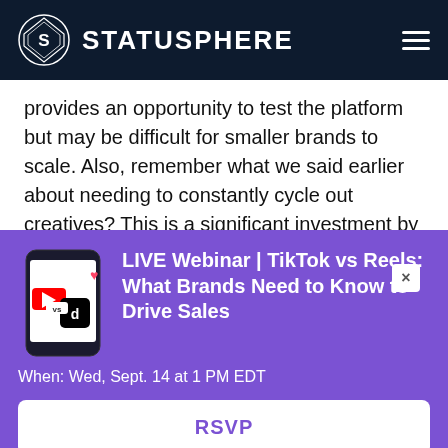STATUSPHERE
provides an opportunity to test the platform but may be difficult for smaller brands to scale. Also, remember what we said earlier about needing to constantly cycle out creatives? This is a significant investment by itself.
[Figure (infographic): Purple promotional banner for a live webinar about TikTok vs Reels featuring a phone graphic with app icons, title 'LIVE Webinar | TikTok vs Reels: What Brands Need to Know to Drive Sales', event time 'When: Wed, Sept. 14 at 1 PM EDT', and an RSVP button.]
LIVE Webinar | TikTok vs Reels: What Brands Need to Know to Drive Sales
When: Wed, Sept. 14 at 1 PM EDT
RSVP